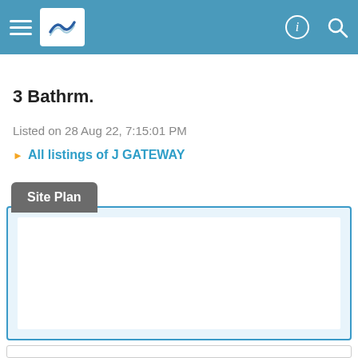Navigation header bar with hamburger menu, logo, info icon, and search icon
3 Bathrm.
Listed on 28 Aug 22, 7:15:01 PM
All listings of J GATEWAY
Site Plan
[Figure (other): Site plan content area with blue border and white inner background]
[Figure (other): Additional content panel at bottom with gray border]